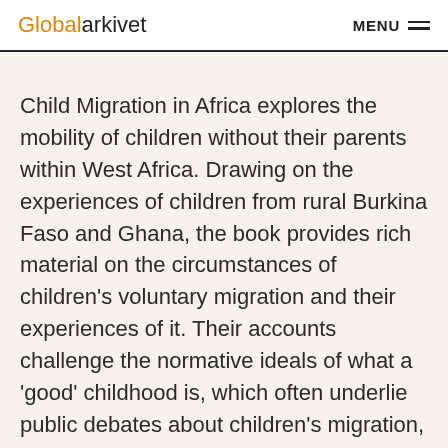Globalarkivet  MENU
Child Migration in Africa explores the mobility of children without their parents within West Africa. Drawing on the experiences of children from rural Burkina Faso and Ghana, the book provides rich material on the circumstances of children's voluntary migration and their experiences of it. Their accounts challenge the normative ideals of what a 'good' childhood is, which often underlie public debates about children's migration, education and work in developing countries. The comparative study of Burkina Faso and Ghana highlights that social networks operate in ways